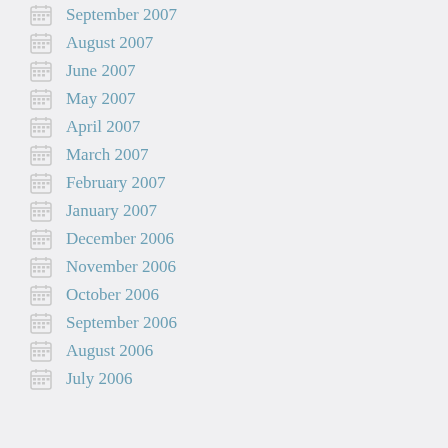September 2007
August 2007
June 2007
May 2007
April 2007
March 2007
February 2007
January 2007
December 2006
November 2006
October 2006
September 2006
August 2006
July 2006